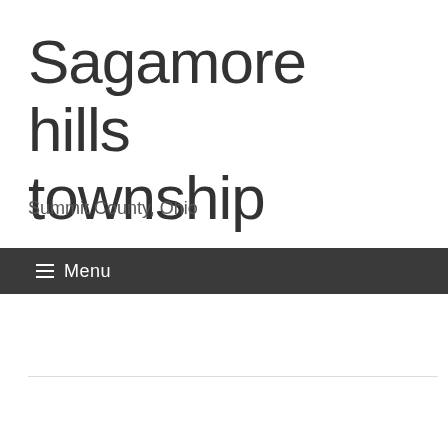Sagamore hills township
Summit County, Ohio
≡ Menu
TAG ARCHIVES: LIQUID VAPE HOUSE
BUSINESS AND MANAGEMENT